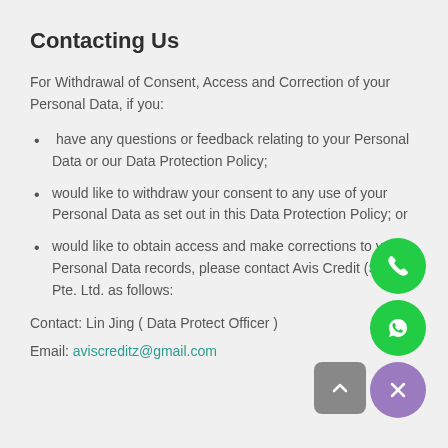Contacting Us
For Withdrawal of Consent, Access and Correction of your Personal Data, if you:
have any questions or feedback relating to your Personal Data or our Data Protection Policy;
would like to withdraw your consent to any use of your Personal Data as set out in this Data Protection Policy; or
would like to obtain access and make corrections to your Personal Data records, please contact Avis Credit (SG) Pte. Ltd. as follows:
Contact: Lin Jing ( Data Protect Officer )
Email: aviscreditz@gmail.com